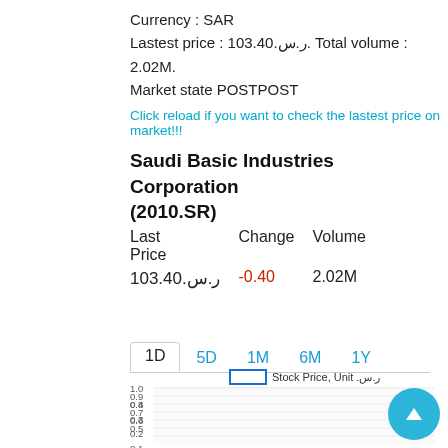Currency : SAR
Lastest price : 103.40.ر.س. Total volume : 2.02M.
Market state POSTPOST
Click reload if you want to check the lastest price on market!!!
Saudi Basic Industries Corporation (2010.SR)
| Last Price | Change | Volume |
| --- | --- | --- |
| 103.40.ر.س | -0.40 | 2.02M |
1D  5D  1M  6M  1Y
[Figure (line-chart): Stock price chart for 1D timeframe. Y-axis from 0 to 1.0 in increments of 0.1. Chart area appears empty/flat.]